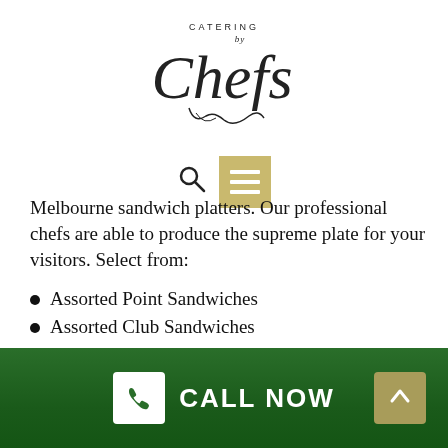[Figure (logo): Catering by Chefs logo with cursive script and decorative swashes]
[Figure (infographic): Search icon and hamburger menu button (gold background)]
Melbourne sandwich platters. Our professional chefs are able to produce the supreme plate for your visitors. Select from:
Assorted Point Sandwiches
Assorted Club Sandwiches
Mini Baguettes
Jumbo Wrap Cross Sections
Mini Snack Size Bagels
Each of our sandwich platters for Camberwell events
CALL NOW